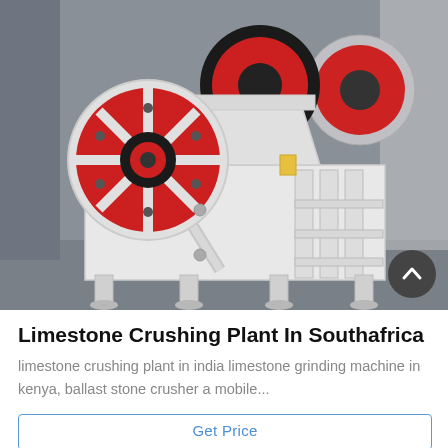[Figure (photo): Industrial jaw crusher / limestone crushing plant machine in a factory setting. The machine is painted white with prominent red and black flywheel pulleys on the left side. The machine has a heavy steel frame with ribbed side plates and sits on mounting feet. Industrial background visible.]
Limestone Crushing Plant In Southafrica
limestone crushing plant in india limestone grinding machine in kenya, ballast stone crusher a mobile...
Get Price